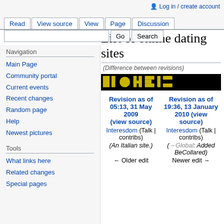Log in / create account
Read | View source | View | Page | Discussion
List of online dating sites
(Difference between revisions)
[Figure (screenshot): Black banner with yellow logo elements for an online dating site]
Navigation
Main Page
Community portal
Current events
Recent changes
Random page
Help
Newest pictures
Tools
What links here
Related changes
Special pages
| Revision as of 05:13, 31 May 2009 (view source) | Revision as of 19:36, 13 January 2010 (view source) |
| --- | --- |
| Interesdom (Talk | contribs) | Interesdom (Talk | contribs) |
| (An Italian site.) | (→Global: Added BeCollared) |
| ← Older edit | Newer edit → |